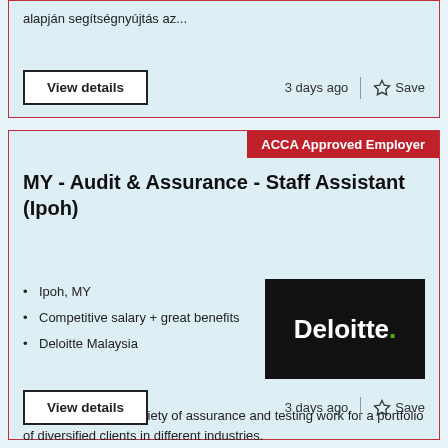alapján segítségnyújtás az...
View details
3 days ago
Save
ACCA Approved Employer
MY - Audit & Assurance - Staff Assistant (Ipoh)
Ipoh, MY
Competitive salary + great benefits
Deloitte Malaysia
[Figure (logo): Deloitte logo - white text on black background]
You will perform a variety of assurance and testing work for a portfolio of diversified clients in different industries.
View details
3 days ago
Save